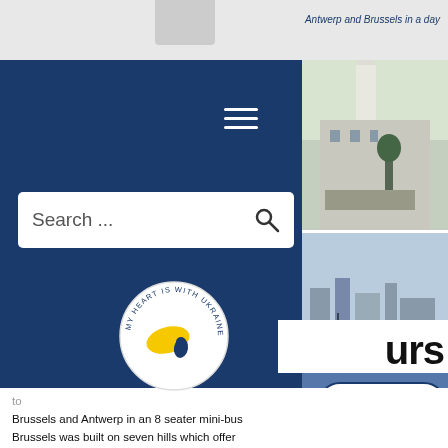[Figure (screenshot): Website screenshot showing a travel/tour website for Antwerp and Brussels. Contains a dark blue navigation overlay, search bar, Ukraine solidarity badge, two photos on the right (church/town hall and harbor), a partial 'NTWER...' button, and a 'tours' heading with introductory body text about Brussels and Antwerp tours.]
Search ...
to Brussels and Antwerp in an 8 seater mini-bus Brussels was built on seven hills which offer spectacular views. Do you want to see the city from the Mountain of the Gallow or the Mountain of Art? I will take you there on our walking tour